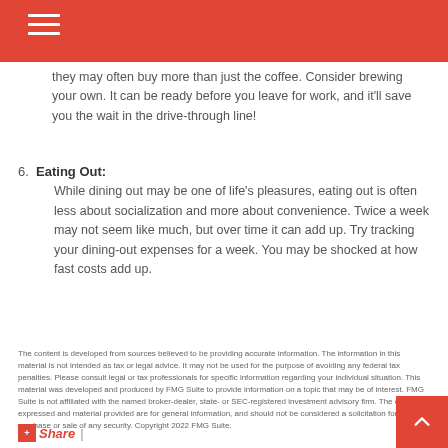they may often buy more than just the coffee. Consider brewing your own. It can be ready before you leave for work, and it'll save you the wait in the drive-through line!
6. Eating Out: While dining out may be one of life's pleasures, eating out is often less about socialization and more about convenience. Twice a week may not seem like much, but over time it can add up. Try tracking your dining-out expenses for a week. You may be shocked at how fast costs add up.
The content is developed from sources believed to be providing accurate information. The information in this material is not intended as tax or legal advice. It may not be used for the purpose of avoiding any federal tax penalties. Please consult legal or tax professionals for specific information regarding your individual situation. This material was developed and produced by FMG Suite to provide information on a topic that may be of interest. FMG Suite is not affiliated with the named broker-dealer, state- or SEC-registered investment advisory firm. The opinions expressed and material provided are for general information, and should not be considered a solicitation for the purchase or sale of any security. Copyright 2022 FMG Suite.
Share |